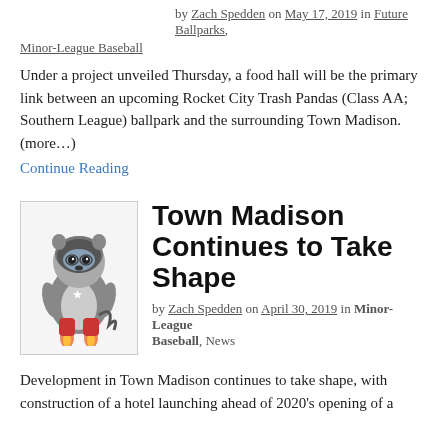by Zach Spedden on May 17, 2019 in Future Ballparks, Minor-League Baseball
Under a project unveiled Thursday, a food hall will be the primary link between an upcoming Rocket City Trash Pandas (Class AA; Southern League) ballpark and the surrounding Town Madison. (more…)
Continue Reading
[Figure (illustration): Rocket City Trash Pandas mascot illustration — a raccoon in an astronaut suit]
Town Madison Continues to Take Shape
by Zach Spedden on April 30, 2019 in Minor-League Baseball, News
Development in Town Madison continues to take shape, with construction of a hotel launching ahead of 2020's opening of a